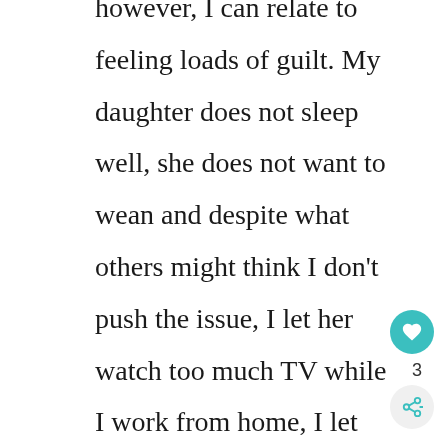however, I can relate to feeling loads of guilt. My daughter does not sleep well, she does not want to wean and despite what others might think I don't push the issue, I let her watch too much TV while I work from home, I let her eat ice cream for lunch sometimes, the list goes on and on. Most of the time, I